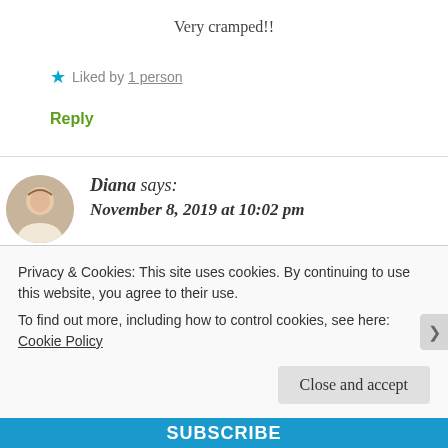Very cramped!!
★ Liked by 1 person
Reply
Diana says:
November 8, 2019 at 10:02 pm
Sunshine and mouthwatering food!! I could do
Privacy & Cookies: This site uses cookies. By continuing to use this website, you agree to their use.
To find out more, including how to control cookies, see here: Cookie Policy
Close and accept